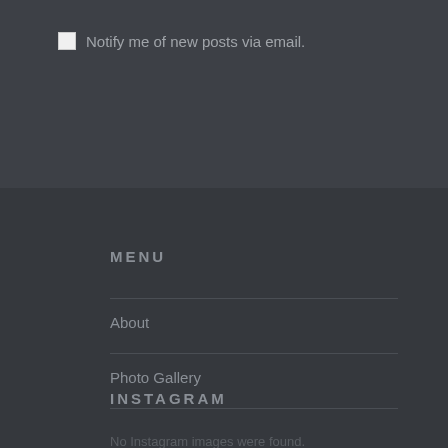Notify me of new posts via email.
MENU
About
Photo Gallery
INSTAGRAM
No Instagram images were found.